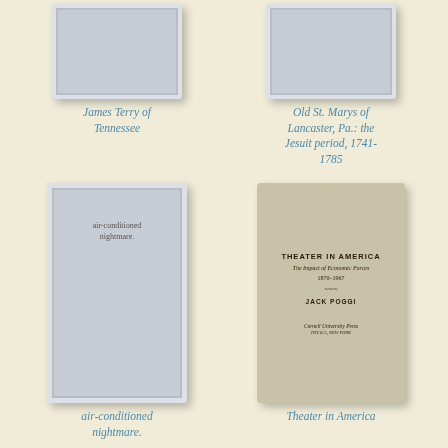[Figure (illustration): Gray book cover placeholder for James Terry of Tennessee]
James Terry of Tennessee
[Figure (illustration): Gray book cover placeholder for Old St. Marys of Lancaster, Pa.: the Jesuit period, 1741-1785]
Old St. Marys of Lancaster, Pa.: the Jesuit period, 1741-1785
[Figure (illustration): Gray book cover with text 'air-conditioned nightmare.']
air-conditioned nightmare.
[Figure (illustration): Book cover for Theater in America: The Impact of Economic Forces 1870-1967 by Jack Poggi, Cornell University Press]
Theater in America
[Figure (illustration): White/blank book cover placeholder]
[Figure (illustration): Gray book cover with text 'Development of real-time smoothing techniques for multi-...']